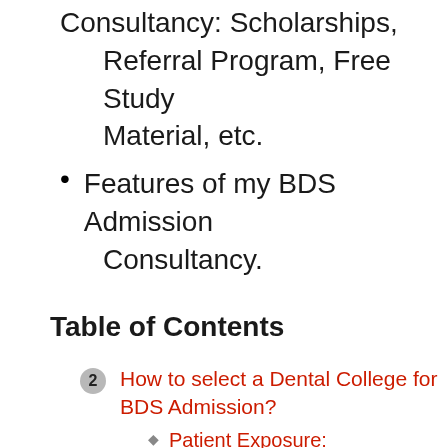Consultancy: Scholarships, Referral Program, Free Study Material, etc.
Features of my BDS Admission Consultancy.
Table of Contents
2 How to select a Dental College for BDS Admission?
Patient Exposure:
Faculties in clinical departments like Endo, Prostho, Ortho, Surgery, etc.